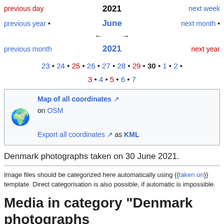2021 | previous day | next week | previous year • | June | next month • | ← → | previous month | 2021 | next year | 23 • 24 • 25 • 26 • 27 • 28 • 29 • 30 • 1 • 2 • | 3 • 4 • 5 • 6 • 7
[Figure (other): Globe emoji icon for map coordinates]
Map of all coordinates ↗ on OSM
Export all coordinates ↗ as KML
Denmark photographs taken on 30 June 2021.
Image files should be categorized here automatically using {{taken on}} template. Direct categorisation is also possible, if automatic is impossible.
Media in category "Denmark photographs